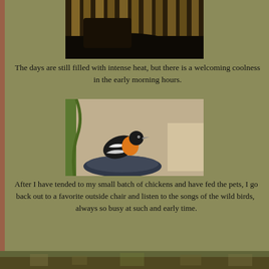[Figure (photo): Dark indoor photo showing wooden fence/blinds, partially visible dark furniture]
The days are still filled with intense heat, but there is a welcoming coolness in the early morning hours.
[Figure (photo): A bird with orange/yellow chest and black and white wings perched on a dark bird bath, with a concrete wall behind and green plant to the left]
After I have tended to my small batch of chickens and have fed the pets, I go back out to a favorite outside chair and listen to the songs of the wild birds,  always so busy at such and early time.
[Figure (photo): Partial view of outdoor scene at bottom of page]